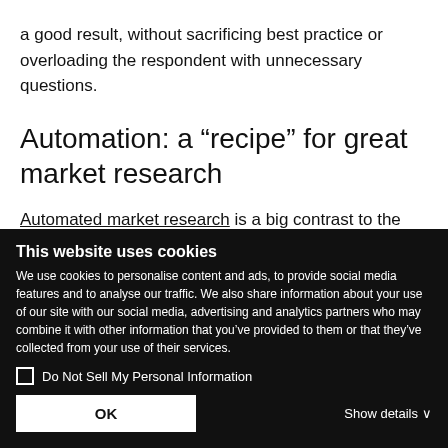a good result, without sacrificing best practice or overloading the respondent with unnecessary questions.
Automation: a “recipe” for great market research
Automated market research is a big contrast to the way things used to be, but we believe it is a change for the better. Thinking back to my early career
This website uses cookies
We use cookies to personalise content and ads, to provide social media features and to analyse our traffic. We also share information about your use of our site with our social media, advertising and analytics partners who may combine it with other information that you’ve provided to them or that they’ve collected from your use of their services.
Do Not Sell My Personal Information
OK
Show details